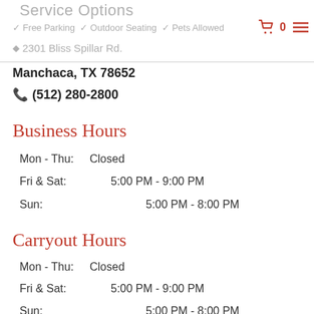Service Options
✓ Free Parking  ✓ Outdoor Seating  ✓ Pets Allowed
◇ 2301 Bliss Spillar Rd.
Manchaca, TX 78652
☎ (512) 280-2800
Business Hours
Mon - Thu:  Closed
Fri & Sat:    5:00 PM - 9:00 PM
Sun:          5:00 PM - 8:00 PM
Carryout Hours
Mon - Thu:  Closed
Fri & Sat:    5:00 PM - 9:00 PM
Sun:          5:00 PM - 8:00 PM